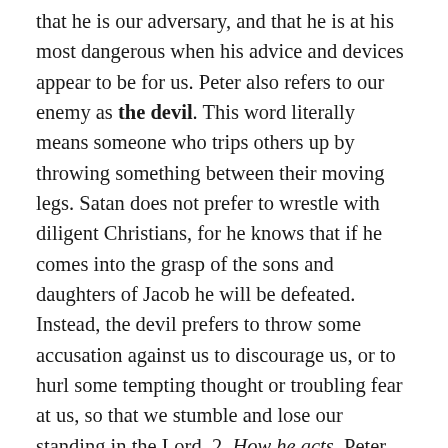that he is our adversary, and that he is at his most dangerous when his advice and devices appear to be for us. Peter also refers to our enemy as the devil. This word literally means someone who trips others up by throwing something between their moving legs. Satan does not prefer to wrestle with diligent Christians, for he knows that if he comes into the grasp of the sons and daughters of Jacob he will be defeated. Instead, the devil prefers to throw some accusation against us to discourage us, or to hurl some tempting thought or troubling fear at us, so that we stumble and lose our standing in the Lord. 2. How he acts. Peter describes our great spiritual adversary's methods when he tells us that the devil prowls around. Scripture consistently portrays Satan as restless and on the move. He may not be near us